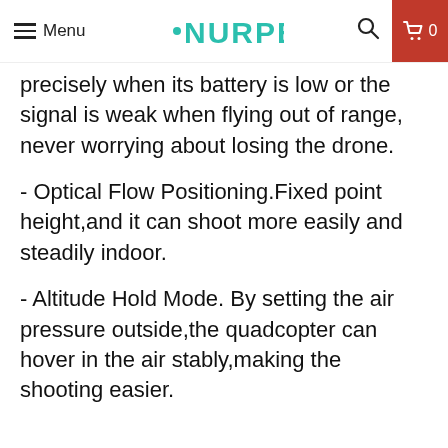Menu | NURPE | 0
precisely when its battery is low or the signal is weak when flying out of range, never worrying about losing the drone.
- Optical Flow Positioning.Fixed point height,and it can shoot more easily and steadily indoor.
- Altitude Hold Mode. By setting the air pressure outside,the quadcopter can hover in the air stably,making the shooting easier.